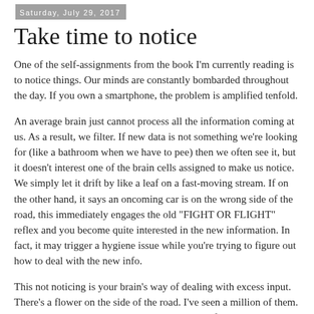Saturday, July 29, 2017
Take time to notice
One of the self-assignments from the book I'm currently reading is to notice things. Our minds are constantly bombarded throughout the day. If you own a smartphone, the problem is amplified tenfold.
An average brain just cannot process all the information coming at us. As a result, we filter. If new data is not something we're looking for (like a bathroom when we have to pee) then we often see it, but it doesn't interest one of the brain cells assigned to make us notice. We simply let it drift by like a leaf on a fast-moving stream. If on the other hand, it says an oncoming car is on the wrong side of the road, this immediately engages the old "FIGHT OR FLIGHT" reflex and you become quite interested in the new information. In fact, it may trigger a hygiene issue while you're trying to figure out how to deal with the new info.
This not noticing is your brain's way of dealing with excess input. There's a flower on the side of the road. I've seen a million of them. No eminent threat there, move on. Over in that field, is a 100-year-old barn. Your brain says, if you've seen one cow palace, you've